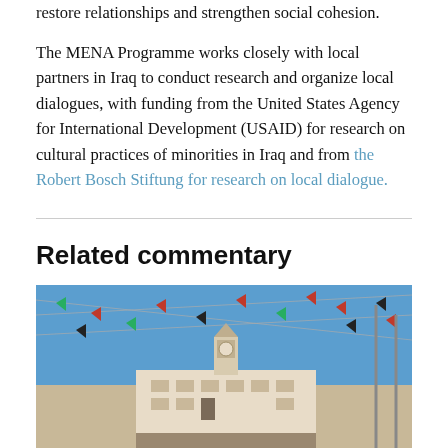restore relationships and strengthen social cohesion.

The MENA Programme works closely with local partners in Iraq to conduct research and organize local dialogues, with funding from the United States Agency for International Development (USAID) for research on cultural practices of minorities in Iraq and from the Robert Bosch Stiftung for research on local dialogue.
Related commentary
[Figure (photo): Outdoor photograph of a building with many red, black, and green flags strung across a bright blue sky, with a white stone building featuring a clock tower visible in the background.]